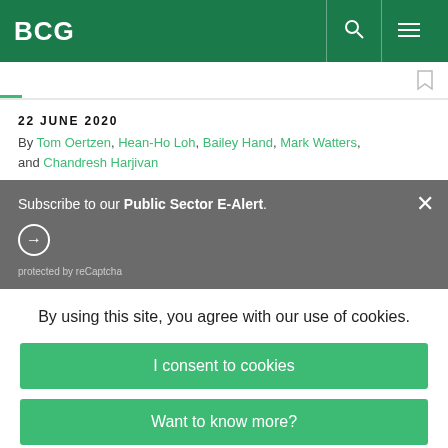BCG
22 JUNE 2020
By Tom Oertzen, Hean-Ho Loh, Bailey Hand, Mark Watters, and Chandresh Harjivan
Subscribe to our Public Sector E-Alert.
protected by reCaptcha
By using this site, you agree with our use of cookies.
I consent to cookies
Want to know more?
Read our Cookie Policy